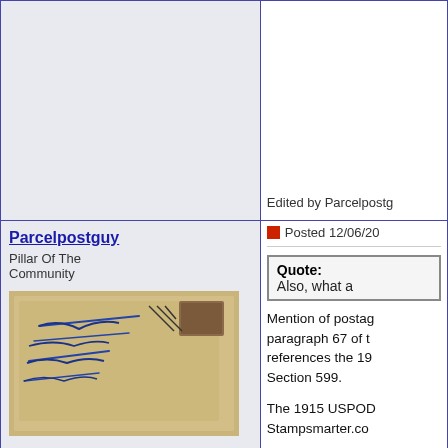Edited by Parcelpostg
Parcelpostguy
Pillar Of The Community
[Figure (photo): Scan of an old envelope with handwritten address in blue ink on yellowish paper]
United States
1291 Posts
Posted 12/06/20
Quote: Also, what a
Mention of postag paragraph 67 of t references the 19 Section 599.
The 1915 USPOD Stampsmarter.co
http://www.uspos